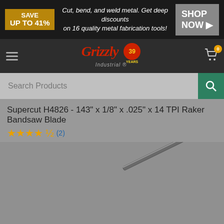[Figure (screenshot): Grizzly Industrial website banner ad: SAVE UP TO 41% - Cut, bend, and weld metal. Get deep discounts on 16 quality metal fabrication tools! SHOP NOW]
[Figure (logo): Grizzly Industrial logo with red cursive text and 39 years badge, hamburger menu and shopping cart]
[Figure (screenshot): Search Products bar with green search icon button]
Supercut H4826 - 143" x 1/8" x .025" x 14 TPI Raker Bandsaw Blade
[Figure (photo): Product photo of a long thin bandsaw blade shown diagonally on a gray background]
Double Tap to Zoom